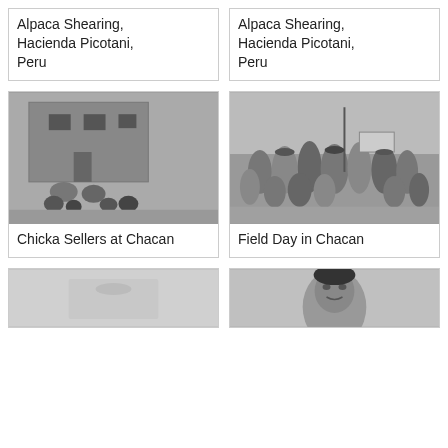Alpaca Shearing, Hacienda Picotani, Peru
Alpaca Shearing, Hacienda Picotani, Peru
[Figure (photo): Black and white photo of Chicka Sellers at Chacan - people sitting outside a mud brick building with pottery]
Chicka Sellers at Chacan
[Figure (photo): Black and white photo of Field Day in Chacan - a crowd of people gathered outdoors in a field]
Field Day in Chacan
[Figure (photo): Black and white photo - faded/light image, partial view]
[Figure (photo): Black and white portrait photo of a person]